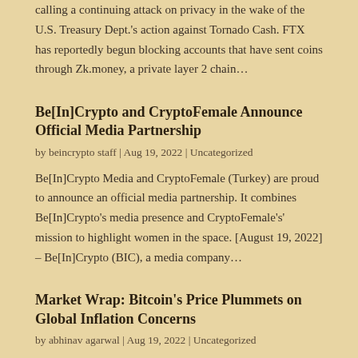calling a continuing attack on privacy in the wake of the U.S. Treasury Dept.'s action against Tornado Cash. FTX has reportedly begun blocking accounts that have sent coins through Zk.money, a private layer 2 chain…
Be[In]Crypto and CryptoFemale Announce Official Media Partnership
by beincrypto staff | Aug 19, 2022 | Uncategorized
Be[In]Crypto Media and CryptoFemale (Turkey) are proud to announce an official media partnership. It combines Be[In]Crypto's media presence and CryptoFemale's' mission to highlight women in the space. [August 19, 2022] – Be[In]Crypto (BIC), a media company…
Market Wrap: Bitcoin's Price Plummets on Global Inflation Concerns
by abhinav agarwal | Aug 19, 2022 | Uncategorized
The decline in crypto prices appears to be linked to